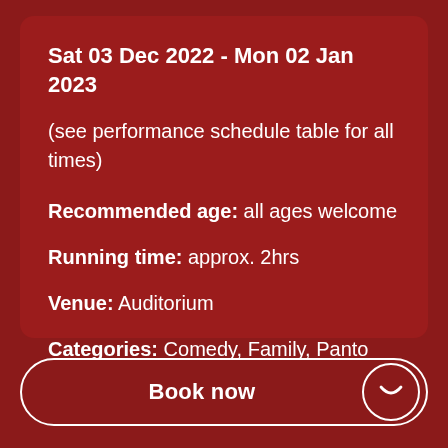Sat 03 Dec 2022 - Mon 02 Jan 2023
(see performance schedule table for all times)
Recommended age:  all ages welcome
Running time:  approx. 2hrs
Venue:  Auditorium
Categories:  Comedy, Family, Panto
Book now